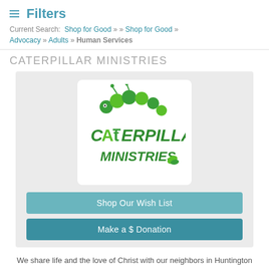≡ Filters
Current Search: Shop for Good » » Shop for Good » Advocacy » Adults » Human Services
CATERPILLAR MINISTRIES
[Figure (logo): Caterpillar Ministries logo with illustrated caterpillar above stylized green text reading 'CAtERPILLAR MINISTRIES']
Shop Our Wish List
Make a $ Donation
We share life and the love of Christ with our neighbors in Huntington Green, a mobile home community in Huntersville. Caterpillar Ministries is an ESSENTIAL service